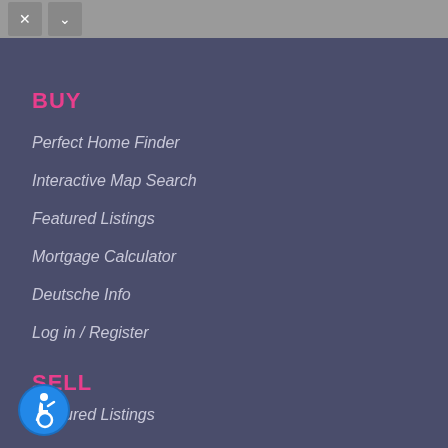navigation buttons (X and chevron-down)
BUY
Perfect Home Finder
Interactive Map Search
Featured Listings
Mortgage Calculator
Deutsche Info
Log in / Register
SELL
Featured Listings
[Figure (illustration): Accessibility icon — circular blue button with wheelchair user symbol]